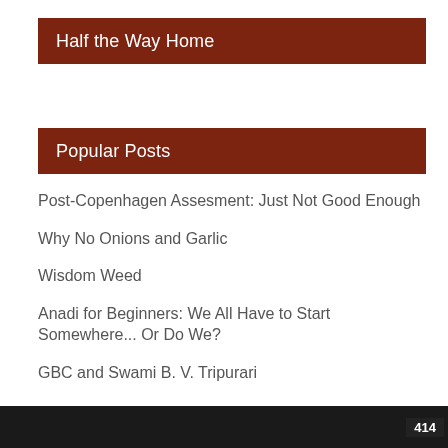Half the Way Home
Popular Posts
Post-Copenhagen Assesment: Just Not Good Enough
Why No Onions and Garlic
Wisdom Weed
Anadi for Beginners: We All Have to Start Somewhere... Or Do We?
GBC and Swami B. V. Tripurari
414